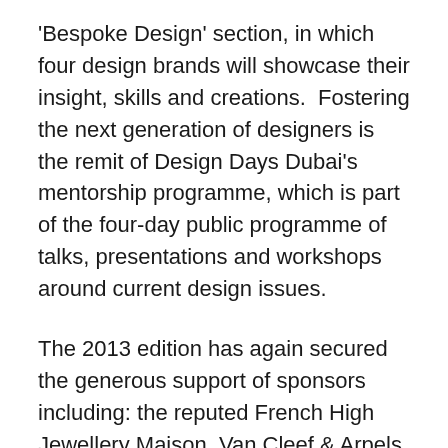'Bespoke Design' section, in which four design brands will showcase their insight, skills and creations.  Fostering the next generation of designers is the remit of Design Days Dubai's mentorship programme, which is part of the four-day public programme of talks, presentations and workshops around current design issues.
The 2013 edition has again secured the generous support of sponsors including: the reputed French High Jewellery Maison, Van Cleef & Arpels, that will present a signature creative concept, showcasing many celebrated jewellery pieces that can be metamorphosed to be worn in more than one way; global property developer and provider of premier lifstlyes, Emaar; and leading German car manufacturer Audi; together with strategic partner Dubai Culture & Arts Authority. Design Days Dubai is a key element of Art Week, the Middle East's largest and most